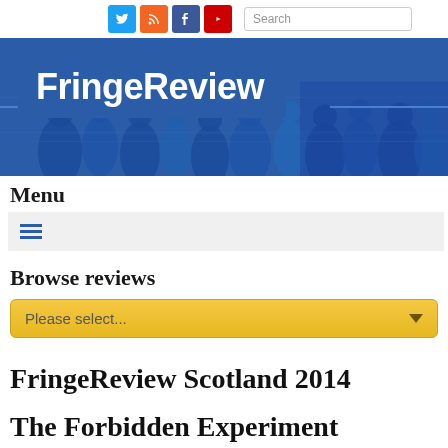FringeReview — social icons: Twitter, RSS, Facebook, YouTube — Search bar
[Figure (screenshot): FringeReview website header banner with blue-tinted crowd photograph and FringeReview logo in white text on blue background]
Menu
[Figure (other): Hamburger menu icon (three horizontal blue lines) on light grey background]
Browse reviews
[Figure (other): Yellow dropdown selector reading 'Please select...' with down-arrow]
FringeReview Scotland 2014
The Forbidden Experiment